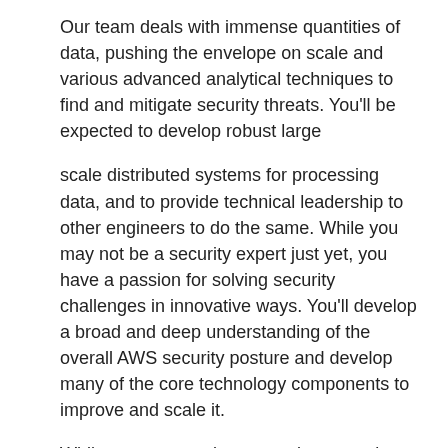Our team deals with immense quantities of data, pushing the envelope on scale and various advanced analytical techniques to find and mitigate security threats. You'll be expected to develop robust large
scale distributed systems for processing data, and to provide technical leadership to other engineers to do the same. While you may not be a security expert just yet, you have a passion for solving security challenges in innovative ways. You'll develop a broad and deep understanding of the overall AWS security posture and develop many of the core technology components to improve and scale it.
While you may not be a security expert just yet, if you have a passion for solving security challenges in innovative ways then this team is for you.
Responsibilities:
* Develop solutions to simplify the processing of massive amounts of data
* Architect, design, and develop systems for detecting